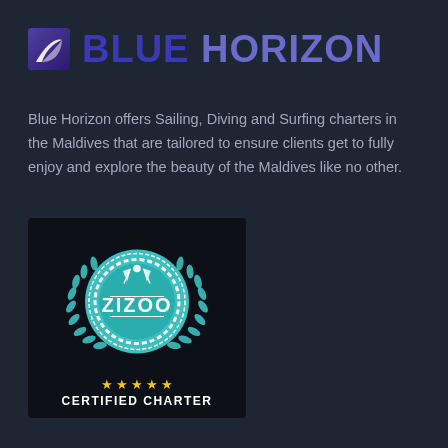BLUE HORIZON
Blue Horizon offers Sailing, Diving and Surfing charters in the Maldives that are tailored to ensure clients get to fully enjoy and explore the beauty of the Maldives like no other.
[Figure (logo): Zizoo Certified Charter badge with teal laurel wreath, rope circle, crossed flags, ZIZOO text, five gold stars, and CERTIFIED CHARTER text on dark background]